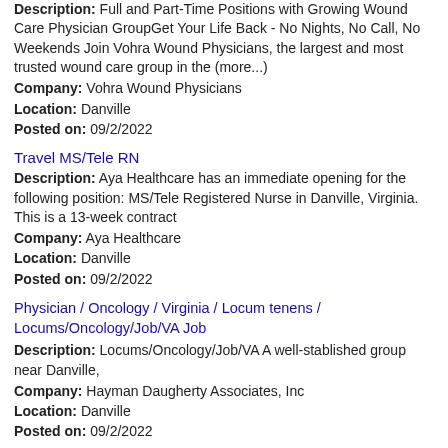Description: Full and Part-Time Positions with Growing Wound Care Physician GroupGet Your Life Back - No Nights, No Call, No Weekends Join Vohra Wound Physicians, the largest and most trusted wound care group in the (more...)
Company: Vohra Wound Physicians
Location: Danville
Posted on: 09/2/2022
Travel MS/Tele RN
Description: Aya Healthcare has an immediate opening for the following position: MS/Tele Registered Nurse in Danville, Virginia. This is a 13-week contract
Company: Aya Healthcare
Location: Danville
Posted on: 09/2/2022
Physician / Oncology / Virginia / Locum tenens / Locums/Oncology/Job/VA Job
Description: Locums/Oncology/Job/VA A well-stablished group near Danville,
Company: Hayman Daugherty Associates, Inc
Location: Danville
Posted on: 09/2/2022
Get Paid to Evaluate Products at Home - $25-$45/hr, PT/FT